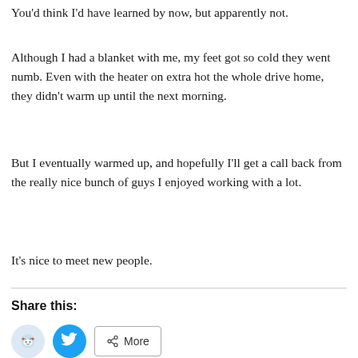You'd think I'd have learned by now, but apparently not.
Although I had a blanket with me, my feet got so cold they went numb. Even with the heater on extra hot the whole drive home, they didn't warm up until the next morning.
But I eventually warmed up, and hopefully I'll get a call back from the really nice bunch of guys I enjoyed working with a lot.
It's nice to meet new people.
Share this: